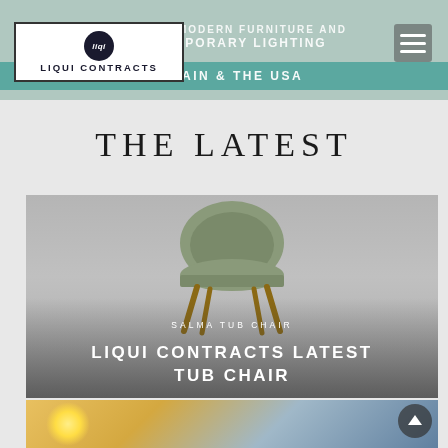CONTRACT MODERN FURNITURE AND CONTEMPORARY LIGHTING SUSTAINABLY MADE IN BRITAIN & THE USA
[Figure (logo): Liqui Contracts logo — circular badge above text reading LIQUI CONTRACTS in uppercase, inside a bordered white rectangle]
[Figure (other): Hamburger menu icon (three horizontal lines) in upper right corner]
THE LATEST
[Figure (photo): Product card showing a Salma Tub Chair — a rounded upholstered tub chair in sage/olive green fabric on angled wooden legs, photographed on a grey background. Text overlaid: 'SALMA TUB CHAIR' and 'LIQUI CONTRACTS LATEST TUB CHAIR']
SALMA TUB CHAIR
LIQUI CONTRACTS LATEST TUB CHAIR
[Figure (photo): Bottom partial image showing a bright sun/light flare over a blue sky or water background]